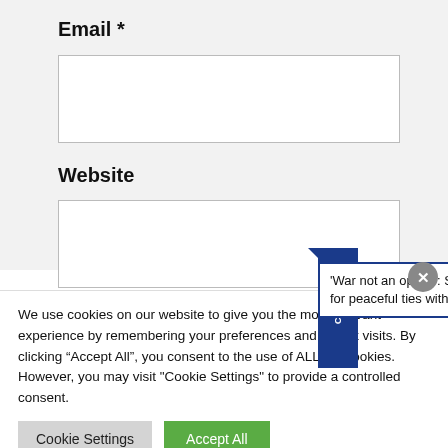Email *
Website
[Figure (screenshot): Notification popup bar with text 'CLES' vertical tab and news headline "'War not an option': Shehbaz bats for peaceful ties with India" with a close button]
We use cookies on our website to give you the most relevant experience by remembering your preferences and repeat visits. By clicking “Accept All”, you consent to the use of ALL the cookies. However, you may visit "Cookie Settings" to provide a controlled consent.
Cookie Settings
Accept All